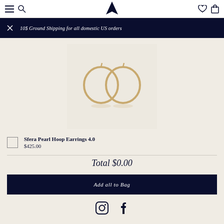Navigation header with menu, search, logo, wishlist, and bag icons
10$ Ground Shipping for all domestic US orders
[Figure (photo): Gold hoop earrings pair (Sfera Pearl Hoop Earrings 4.0) on light beige background]
Sfera Pearl Hoop Earrings 4.0
$425.00
Total $0.00
Add all to Bag
[Figure (other): Instagram and Facebook social media icons]